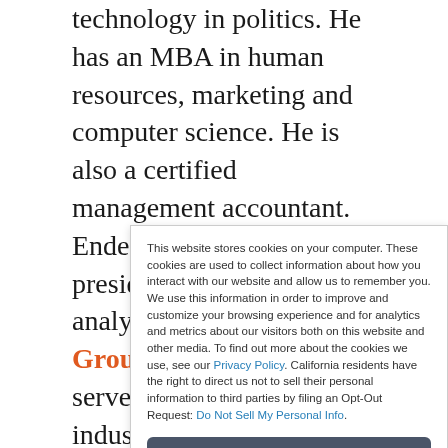technology in politics. He has an MBA in human resources, marketing and computer science. He is also a certified management accountant. Enderle currently is president and principal analyst of the Enderle Group, a consultancy that serves the technology industry. He formerly served as a senior research fellow at Giga Information Group and Forrester. Email Rob
This website stores cookies on your computer. These cookies are used to collect information about how you interact with our website and allow us to remember you. We use this information in order to improve and customize your browsing experience and for analytics and metrics about our visitors both on this website and other media. To find out more about the cookies we use, see our Privacy Policy. California residents have the right to direct us not to sell their personal information to third parties by filing an Opt-Out Request: Do Not Sell My Personal Info.
Accept